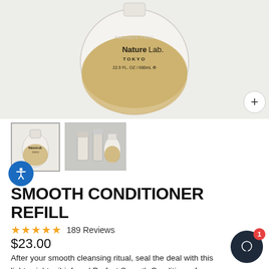[Figure (photo): NatureLab Tokyo smooth conditioner refill pouch product, beige/cream colored flexible pouch with text 'PARABEN FREE', 'NatureLab. TOKYO', '22.9 FL. OZ / 680mL', shown against light gray background. Plus button in bottom-right corner.]
[Figure (photo): Small thumbnail of the refill pouch product against white background]
[Figure (photo): Small thumbnail showing the refill pouch alongside two dispensing bottles on a gray surface]
SMOOTH CONDITIONER REFILL
189 Reviews
$23.00
After your smooth cleansing ritual, seal the deal with this lightweight, oil-infused Perfect Smooth Conditioner from NatureLab. Tokyo. Potent Argan Extract works to promote